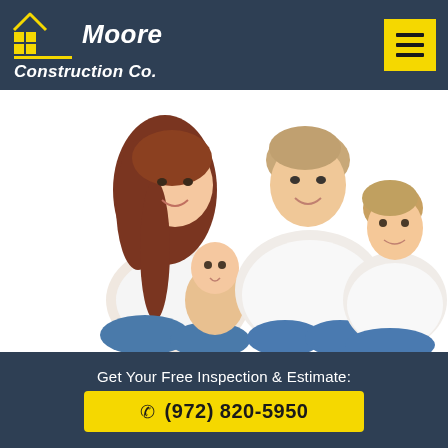[Figure (logo): Moore Construction Co. logo with yellow house/grid icon and company name in white italic text on dark navy background, with yellow menu hamburger button top right]
[Figure (photo): Stock photo of a happy family of four (mother with long red hair, father, baby, and young boy) sitting together on white background, all wearing casual white tops and jeans]
Get Your Free Inspection & Estimate:
(972) 820-5950